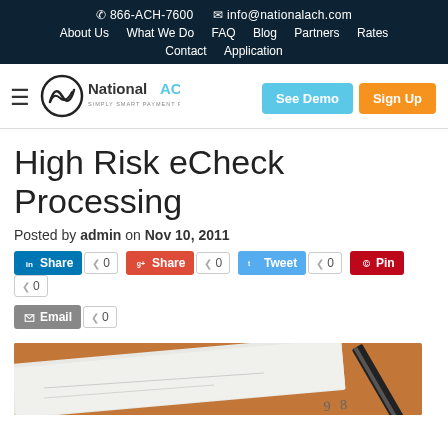866-ACH-7600  info@nationalach.com  About Us  What We Do  FAQ  Blog  Partners  Rates  Contact  Application
[Figure (logo): National ACH logo with tagline 'Simply Smart Payment Processing', hamburger menu, See Demo and Sign Up buttons]
High Risk eCheck Processing
Posted by admin on Nov 10, 2011
Social share buttons: LinkedIn Share 0, Google+ Share 0, Twitter Tweet 0, Pinterest Pin 0, Email 0
[Figure (photo): Close-up photo of a check on an orange/wooden surface with a pen, showing the number 98]